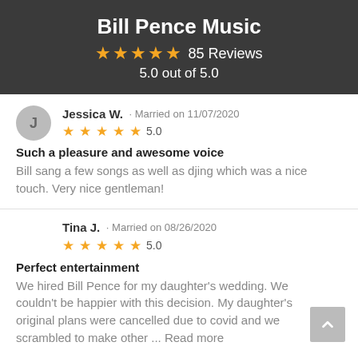Bill Pence Music
★★★★★ 85 Reviews
5.0 out of 5.0
Jessica W. · Married on 11/07/2020
★★★★★ 5.0
Such a pleasure and awesome voice
Bill sang a few songs as well as djing which was a nice touch. Very nice gentleman!
Tina J. · Married on 08/26/2020
★★★★★ 5.0
Perfect entertainment
We hired Bill Pence for my daughter's wedding. We couldn't be happier with this decision. My daughter's original plans were cancelled due to covid and we scrambled to make other ... Read more